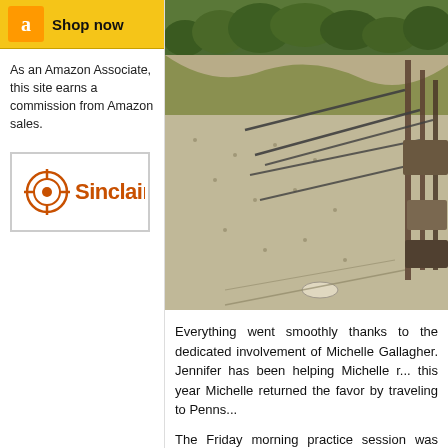[Figure (logo): Amazon 'Shop Now' banner with orange logo box and yellow background]
[Figure (photo): Outdoor shooting range with gravel surface, rifles on stands, green vegetation and trees in background]
As an Amazon Associate, this site earns a commission from Amazon sales.
[Figure (logo): Sinclair logo in orange text]
Everything went smoothly thanks to the dedicated involvement of Michelle Gallagher. Jennifer has been helping Michelle r... this year Michelle returned the favor by traveling to Penns...
The Friday morning practice session was well-attended. Friday afternoon, but there were still fourteen, 4-shooter s...